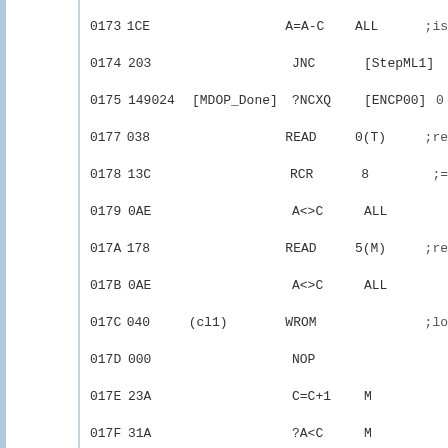0173 1CE                              A=A-C   ALL      ;is
0174 203                              JNC     [StepML1]
0175 149024   [MDOP_Done]            ?NCXQ   [ENCP00] 0
0177 038                              READ    0(T)     ;re
0178 13C                              RCR     8        ;=
0179 0AE                              A<>C    ALL
017A 178                              READ    5(M)     ;re
017B 0AE                              A<>C    ALL
017C 040      (cl1)                  WROM             ;lo
017D 000                              NOP
017E 23A                              C=C+1   M
017F 31A                              ?A<C    M